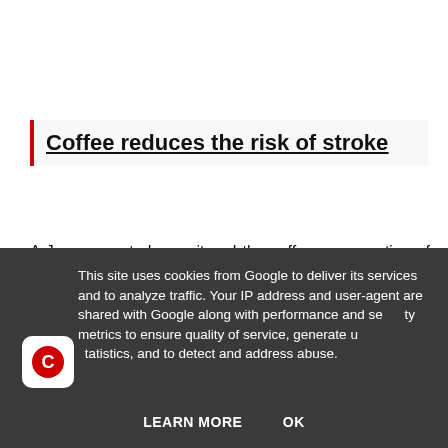Coffee reduces the risk of stroke
A Japanese study monitored the coffee consumption of 83,269 adults aged 45 to 74 years found that people who drank coffee daily had a 20% lower risk of stroke compared
This site uses cookies from Google to deliver its services and to analyze traffic. Your IP address and user-agent are shared with Google along with performance and security metrics to ensure quality of service, generate usage statistics, and to detect and address abuse.
LEARN MORE    OK